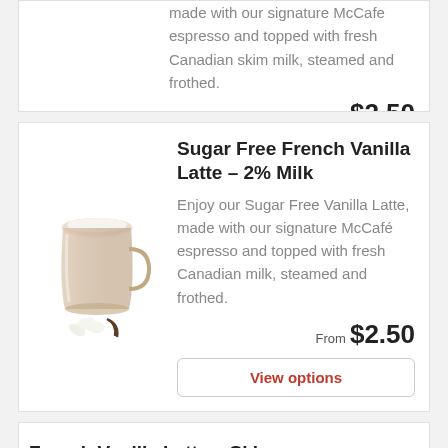made with our signature McCafe espresso and topped with fresh Canadian skim milk, steamed and frothed.
From $2.50
View options
Sugar Free French Vanilla Latte – 2% Milk
Enjoy our Sugar Free Vanilla Latte, made with our signature McCafé espresso and topped with fresh Canadian milk, steamed and frothed.
From $2.50
View options
French Vanilla Latte – Skim